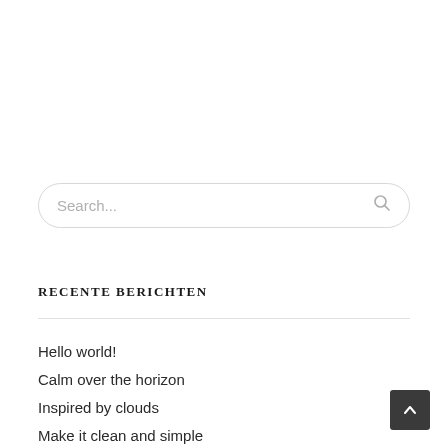Search...
RECENTE BERICHTEN
Hello world!
Calm over the horizon
Inspired by clouds
Make it clean and simple